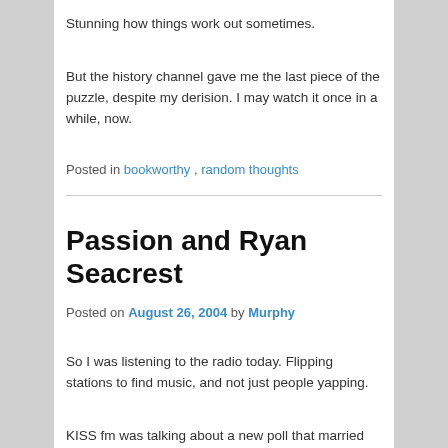Stunning how things work out sometimes.
But the history channel gave me the last piece of the puzzle, despite my derision. I may watch it once in a while, now.
Posted in bookworthy, random thoughts
Passion and Ryan Seacrest
Posted on August 26, 2004 by Murphy
So I was listening to the radio today. Flipping stations to find music, and not just people yapping.
KISS fm was talking about a new poll that married women 2 to 1 are in favor of Bush for President, and that single women are in favor of Kerry. Ryan Seacrest took a call